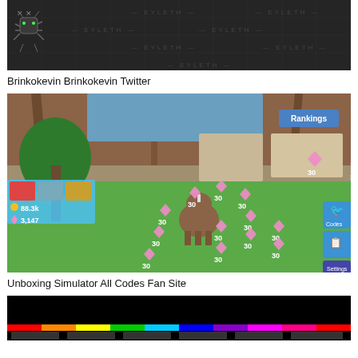[Figure (screenshot): Dark game screenshot with grid pattern and spider/bug logo on left, 'EYLETH' text watermarks repeated across the image]
Brinkokevin Brinkokevin Twitter
[Figure (screenshot): Roblox Unboxing Simulator game screenshot showing a horse character surrounded by pink diamond gems each labeled '30', interior barn/stable building in background, UI elements showing 88.3k coins and 3,147 gems, Twitter Codes and Settings buttons on right side]
Unboxing Simulator All Codes Fan Site
[Figure (screenshot): Partial screenshot with black background and colorful rainbow bar at bottom, partially cut off]